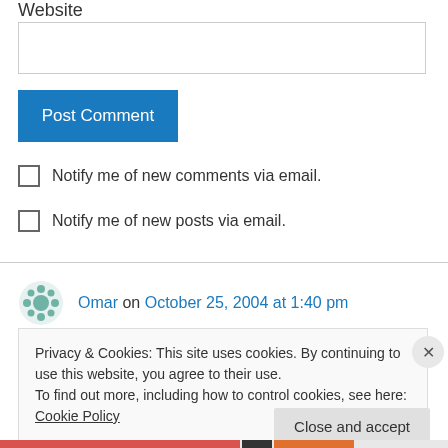Website
[Figure (other): Text input box for website URL]
[Figure (other): Post Comment button (blue)]
Notify me of new comments via email.
Notify me of new posts via email.
Omar on October 25, 2004 at 1:40 pm
Privacy & Cookies: This site uses cookies. By continuing to use this website, you agree to their use.
To find out more, including how to control cookies, see here: Cookie Policy